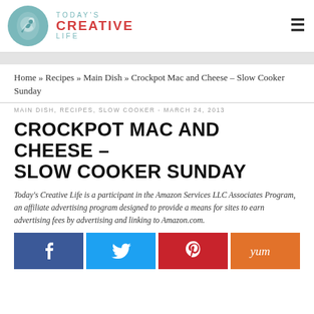TODAY'S CREATIVE LIFE
Home » Recipes » Main Dish » Crockpot Mac and Cheese – Slow Cooker Sunday
MAIN DISH, RECIPES, SLOW COOKER - MARCH 24, 2013
CROCKPOT MAC AND CHEESE – SLOW COOKER SUNDAY
Today's Creative Life is a participant in the Amazon Services LLC Associates Program, an affiliate advertising program designed to provide a means for sites to earn advertising fees by advertising and linking to Amazon.com.
[Figure (infographic): Four social share buttons: Facebook (dark blue with f icon), Twitter (light blue with bird icon), Pinterest (red with P icon), Yum (orange with Yum text)]